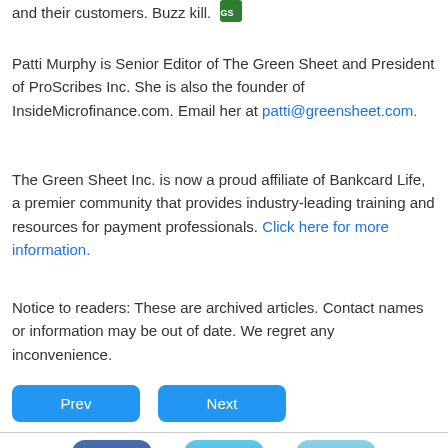and their customers. Buzz kill. [GS icon]
Patti Murphy is Senior Editor of The Green Sheet and President of ProScribes Inc. She is also the founder of InsideMicrofinance.com. Email her at patti@greensheet.com.
The Green Sheet Inc. is now a proud affiliate of Bankcard Life, a premier community that provides industry-leading training and resources for payment professionals. Click here for more information.
Notice to readers: These are archived articles. Contact names or information may be out of date. We regret any inconvenience.
[Figure (infographic): Prev and Next navigation buttons (blue rounded rectangles)]
[Figure (infographic): Social media icons row: Facebook (dark blue f logo), Twitter (light blue bird logo), LinkedIn (teal in logo)]